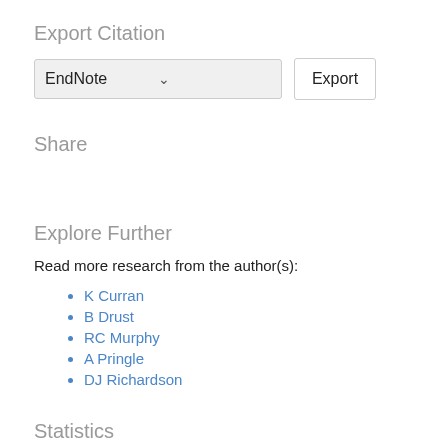Export Citation
[Figure (screenshot): Export Citation UI with EndNote dropdown and Export button]
Share
Explore Further
Read more research from the author(s):
K Curran
B Drust
RC Murphy
A Pringle
DJ Richardson
Statistics